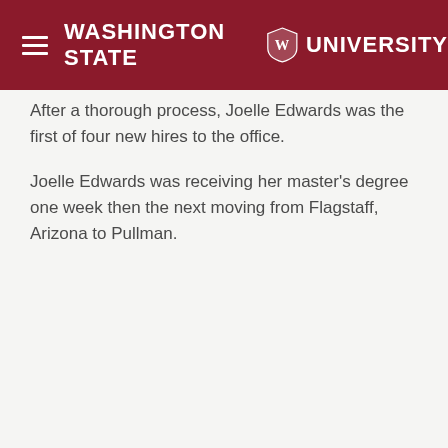Washington State University
After a thorough process, Joelle Edwards was the first of four new hires to the office.
Joelle Edwards was receiving her master’s degree one week then the next moving from Flagstaff, Arizona to Pullman.